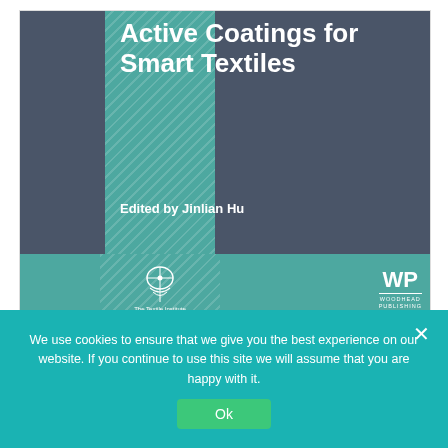[Figure (illustration): Book cover of 'Active Coatings for Smart Textiles' edited by Jinlian Hu, published by Woodhead Publishing in association with The Textile Institute. Cover design features dark slate gray panels, teal diagonal-stripe panels, white bold title text, and publisher logos at the bottom.]
We use cookies to ensure that we give you the best experience on our website. If you continue to use this site we will assume that you are happy with it.